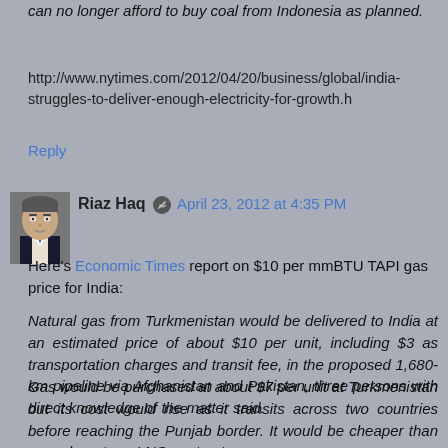can no longer afford to buy coal from Indonesia as planned.
http://www.nytimes.com/2012/04/20/business/global/india-struggles-to-deliver-enough-electricity-for-growth.h
Reply
Riaz Haq  April 23, 2012 at 4:35 PM
Here's Economic Times report on $10 per mmBTU TAPI gas price for India:
Natural gas from Turkmenistan would be delivered to India at an estimated price of about $10 per unit, including $3 as transportation charges and transit fee, in the proposed 1,680-km pipeline via Afghanistan and Pakistan, three persons with direct knowledge of the matter said.
Gas would be purchased at about $7 per unit at Turkmenistan but its cost would rise as it transits across two countries before reaching the Punjab border. It would be cheaper than some long-term LNG contracts,